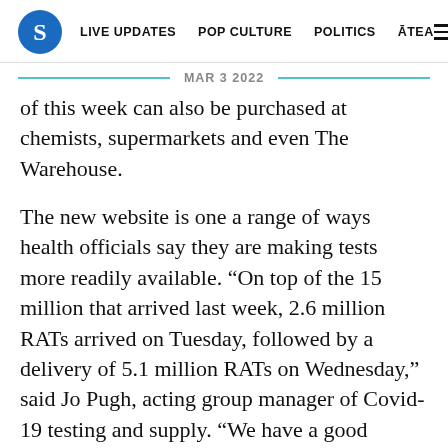S | LIVE UPDATES | POP CULTURE | POLITICS | ĀTEA
MAR 3 2022
of this week can also be purchased at chemists, supermarkets and even The Warehouse.
The new website is one a range of ways health officials say they are making tests more readily available. “On top of the 15 million that arrived last week, 2.6 million RATs arrived on Tuesday, followed by a delivery of 5.1 million RATs on Wednesday,” said Jo Pugh, acting group manager of Covid-19 testing and supply. “We have a good supply of RATs to meet demand during phase three of our omicron response.”
There are now 146 collection sites, 106 testing centres and 21 providers nationwide. Add in the retailers and Pugh said there are now over 500